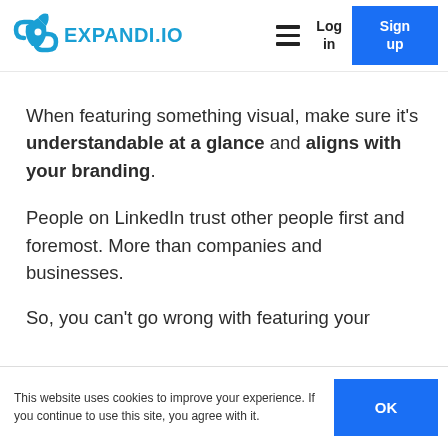[Figure (logo): Expandi.io logo with rocket/chain icon in blue and blue text reading EXPANDI.IO]
When featuring something visual, make sure it's understandable at a glance and aligns with your branding.
People on LinkedIn trust other people first and foremost. More than companies and businesses.
So, you can't go wrong with featuring your
This website uses cookies to improve your experience. If you continue to use this site, you agree with it.